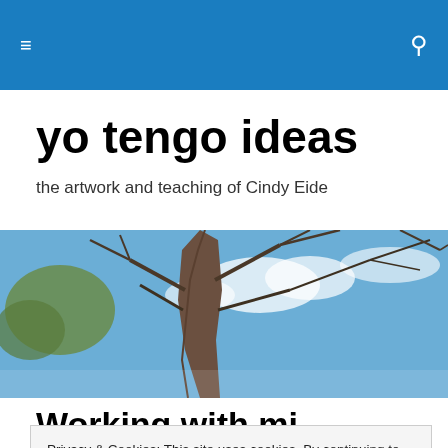yo tengo ideas — navigation bar with hamburger menu and search icon
yo tengo ideas
the artwork and teaching of Cindy Eide
[Figure (photo): Upward-looking view of a bare tree trunk against a blue sky with scattered clouds and bare tree branches in winter]
Working with mi…
Privacy & Cookies: This site uses cookies. By continuing to use this website, you agree to their use. To find out more, including how to control cookies, see here: Cookie Policy
Close and accept
Visarts and VMFA, all the while keeping at my full-time